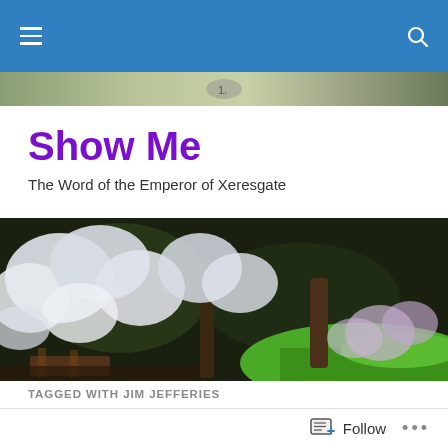Navigation bar with hamburger menu and search icon
[Figure (photo): Narrow strip of outdoor scenery at the top below nav bar]
Show Me
The Word of the Emperor of Xeresgate
[Figure (photo): Wide banner photograph of blooming white cherry blossom trees with green grass and brown tree trunks in a garden setting]
TAGGED WITH JIM JEFFERIES
10 Questions you WISH someone would ask you...
Follow ...